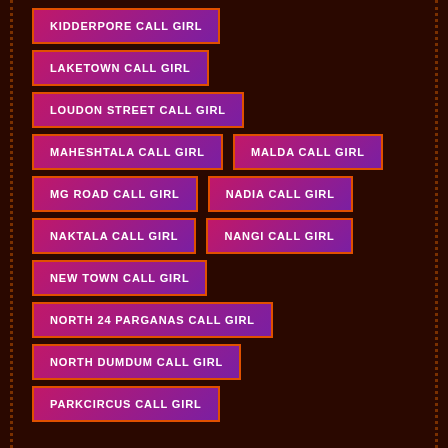KIDDERPORE CALL GIRL
LAKETOWN CALL GIRL
LOUDON STREET CALL GIRL
MAHESHTALA CALL GIRL
MALDA CALL GIRL
MG ROAD CALL GIRL
NADIA CALL GIRL
NAKTALA CALL GIRL
NANGI CALL GIRL
NEW TOWN CALL GIRL
NORTH 24 PARGANAS CALL GIRL
NORTH DUMDUM CALL GIRL
PARKCIRCUS CALL GIRL